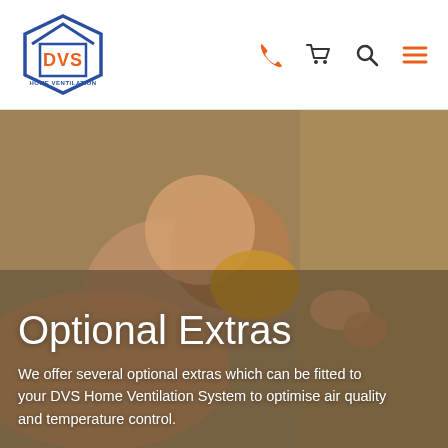[Figure (logo): DVS Home Ventilation logo — hexagonal house outline in blue with DVS in orange text inside, 'HOME VENTILATION' in small blue text below]
[Figure (infographic): Navigation icons: orange telephone handset, dark shopping cart, dark magnifying glass, orange hamburger menu]
[Figure (photo): Hero background photo of a smiling man lying on a sofa with a young child in a yellow top holding hands, warm indoor setting]
Optional Extras
We offer several optional extras which can be fitted to your DVS Home Ventilation System to optimise air quality and temperature control.